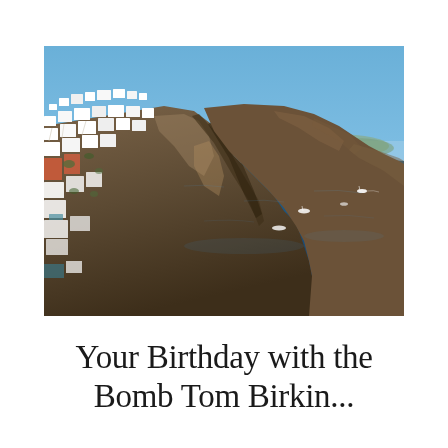[Figure (photo): Aerial view of Santorini, Greece, showing white-washed buildings perched on cliffsides overlooking the deep blue Aegean Sea. Rocky volcanic caldera cliffs are visible in the center and right, with a distant island on the horizon. Several small boats are visible on the water.]
Your Birthday with the
Bomb Tom Birkin...